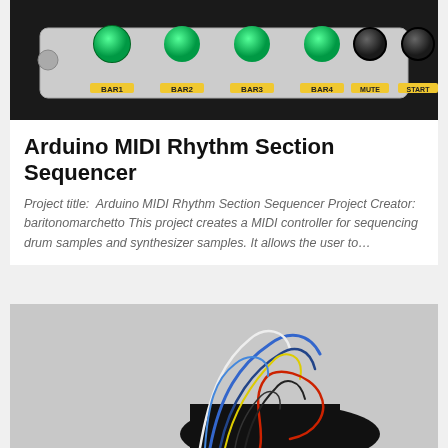[Figure (photo): Arduino MIDI controller hardware with green and dark buttons labeled BAR1, BAR2, BAR3, BAR4, MUTE, START on a dark background]
Arduino MIDI Rhythm Section Sequencer
Project title:  Arduino MIDI Rhythm Section Sequencer Project Creator:  baritonomarchetto This project creates a MIDI controller for sequencing drum samples and synthesizer samples. It allows the user to…
[Figure (photo): Close-up photo of colorful wires and electronics components on a breadboard/Arduino setup against a grey background]